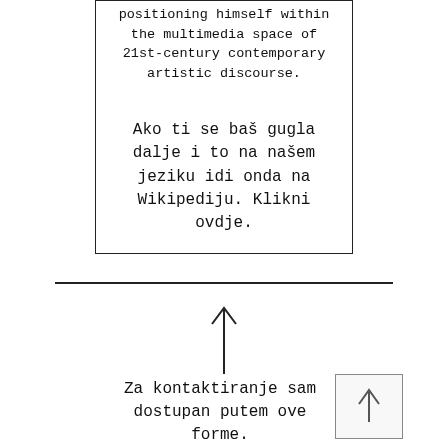positioning himself within the multimedia space of 21st-century contemporary artistic discourse.
Ako ti se baš gugla dalje i to na našem jeziku idi onda na Wikipediju. Klikni ovdje.
Za kontaktiranje sam dostupan putem ove forme.